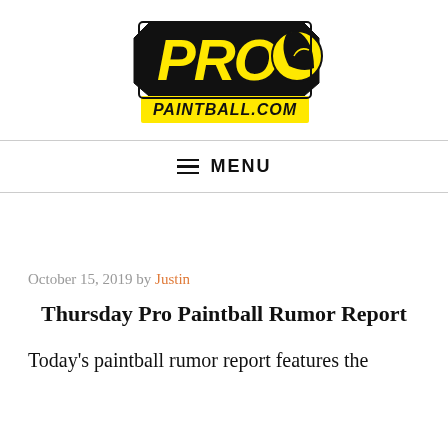[Figure (logo): ProPaintball.com logo with yellow PRO text and paintball graphic]
≡ MENU
October 15, 2019 by Justin
Thursday Pro Paintball Rumor Report
Today's paintball rumor report features the